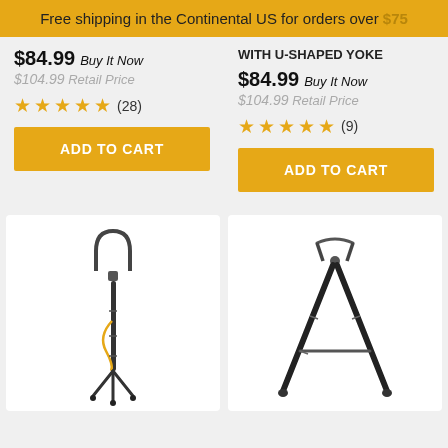Free shipping in the Continental US for orders over $75
$84.99 Buy It Now
$104.99 Retail Price
★★★★★ (28)
WITH U-SHAPED YOKE
$84.99 Buy It Now
$104.99 Retail Price
★★★★★ (9)
ADD TO CART
ADD TO CART
[Figure (photo): Monopod shooting stick with U-shaped yoke at top, adjustable legs at bottom, vertical black pole with yellow strap]
[Figure (photo): Bipod shooting stick with V-shaped yoke at top, two angled black legs spread wide forming an A-frame]